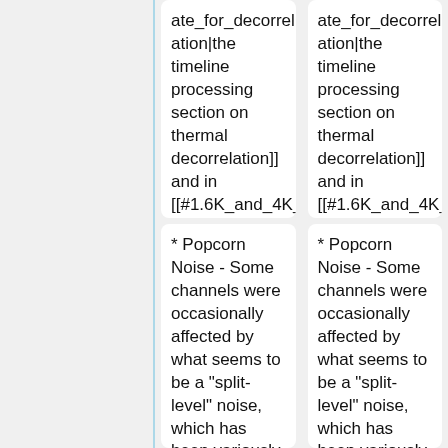ate_for_decorrelation|the timeline processing section on thermal decorrelation]] and in [[#1.6K_and_4K_stages_Fluctuations|the section on 1.6 K and 4 K thermal fluctuations]].
ate_for_decorrelation|the timeline processing section on thermal decorrelation]] and in [[#1.6K_and_4K_stages_Fluctuations|the section on 1.6 K and 4 K thermal fluctuations]].
* Popcorn Noise - Some channels were occasionally affected by what seems to be a "split-level" noise, which has been variously
* Popcorn Noise - Some channels were occasionally affected by what seems to be a "split-level" noise, which has been variously